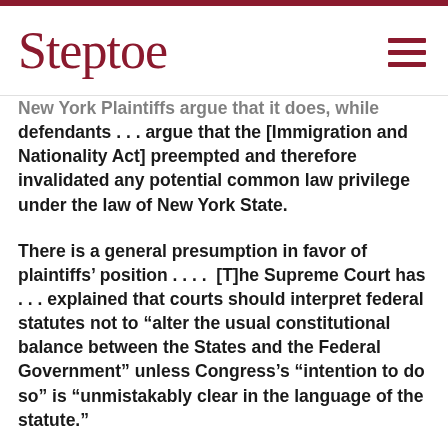Steptoe
New York Plaintiffs argue that it does, while defendants . . . argue that the [Immigration and Nationality Act] preempted and therefore invalidated any potential common law privilege under the law of New York State.
There is a general presumption in favor of plaintiffs’ position . . . .  [T]he Supreme Court has . . . explained that courts should interpret federal statutes not to “alter the usual constitutional balance between the States and the Federal Government” unless Congress’s “intention to do so” is “unmistakably clear in the language of the statute.”